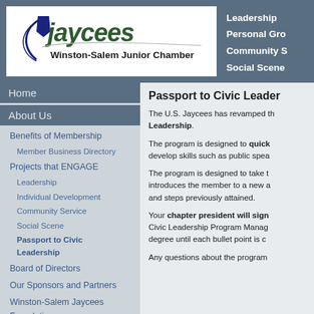[Figure (logo): Jaycees Winston-Salem Junior Chamber logo with blue arc and shield icon]
Leadership
Personal Growth
Community Service
Social Scene
Home
About Us
Benefits of Membership
Member Business Directory
Projects that ENGAGE
Leadership
Individual Development
Community Service
Social Scene
Passport to Civic Leadership
Board of Directors
Our Sponsors and Partners
Winston-Salem Jaycees Foundation
Chapter History
Chapter Achievements
Senators, Cardinal Corp & Past
Passport to Civic Leadership
The U.S. Jaycees has revamped the program formerly known as Passport to Civic Leadership.
The program is designed to quickly get new members involved and help develop skills such as public speaking.
The program is designed to take the member through five degrees and introduces the member to a new area of Jaycee involvement at each level and steps previously attained.
Your chapter president will sign off on each level of the Passport to Civic Leadership Program Manager. You may not advance to the next degree until each bullet point is completed.
Any questions about the program